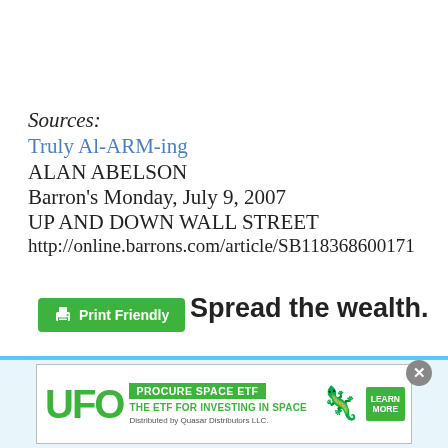Sources:
Truly Al-ARM-ing
ALAN ABELSON
Barron's Monday, July 9, 2007
UP AND DOWN WALL STREET
http://online.barrons.com/article/SB118368600171
[Figure (other): Green 'Print Friendly' button with printer icon]
Spread the wealth.
[Figure (other): UFO - Procure Space ETF advertisement banner. Green text: UFO. PROCURE SPACE ETF. THE ETF FOR INVESTING IN SPACE. Distributed by Quasar Distributors LLC. Dragon logo. LEARN MORE button.]